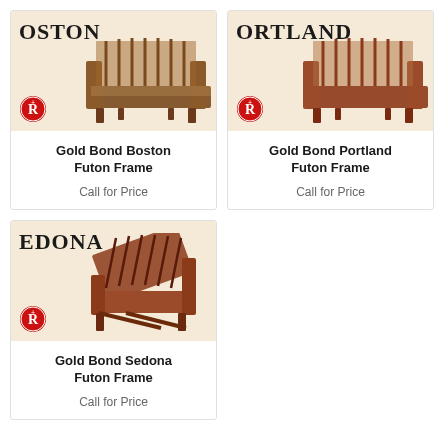[Figure (photo): Gold Bond Boston Futon Frame - wooden futon frame with slatted back, warm brown finish, shown against cream background with 'BOSTON' text]
Gold Bond Boston Futon Frame
Call for Price
[Figure (photo): Gold Bond Portland Futon Frame - wooden futon frame with slatted back, reddish-brown finish, shown against cream background with 'PORTLAND' text]
Gold Bond Portland Futon Frame
Call for Price
[Figure (photo): Gold Bond Sedona Futon Frame - wooden futon frame shown at angle, reddish-brown finish, shown against cream background with 'SEDONA' text]
Gold Bond Sedona Futon Frame
Call for Price